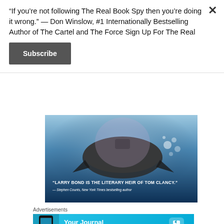“If you’re not following The Real Book Spy then you’re doing it wrong.” — Don Winslow, #1 Internationally Bestselling Author of The Cartel and The Force Sign Up For The Real
Subscribe
[Figure (photo): Underwater scene showing a submarine or vehicle with splash effects and bubbles. Quote overlay: '“LARRY BOND IS THE LITERARY HEIR OF TOM CLANCY.” — Stephen Counts, New York Times bestselling author']
Advertisements
[Figure (illustration): Day One app advertisement banner. Blue background with phone mockup on left, text 'Your Journal for life' in center, Day One logo/icon on right with brand name 'DAY ONE'.]